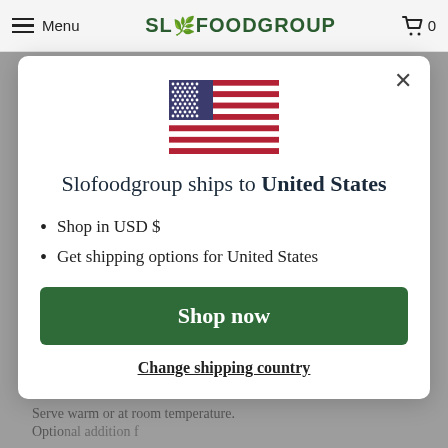Menu  SLOFOODGROUP  0
[Figure (illustration): US flag SVG illustration centered in modal]
Slofoodgroup ships to United States
Shop in USD $
Get shipping options for United States
Shop now
Change shipping country
Serve warm or at room temperature.